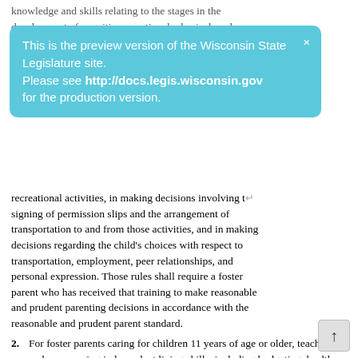knowledge and skills relating to the stages in the development of cognitive, emotional, physical, and
[Figure (screenshot): Blue preview banner for Wisconsin State Legislature site with text: 'This is the preview version of the Wisconsin State Legislature site. Please see http://docs.legis.wisconsin.gov for the production version.']
recreational activities, in making decisions involving the signing of permission slips and the arrangement of transportation to and from those activities, and in making decisions regarding the child's choices with respect to transportation, employment, peer relationships, and personal expression. Those rules shall require a foster parent who has received that training to make reasonable and prudent parenting decisions in accordance with the reasonable and prudent parent standard.
2. For foster parents caring for children 11 years of age or older, teaching and encouraging independent living skills, including budgeting, health and nutrition, and other skills to promote the child's long-term economic independence and well-being.
3. Issues that may confront the foster parents, in general, and that may confront the foster parents of children with special needs.
4. Child abuse and neglect prevention.
5. The proper use of foster care payments.